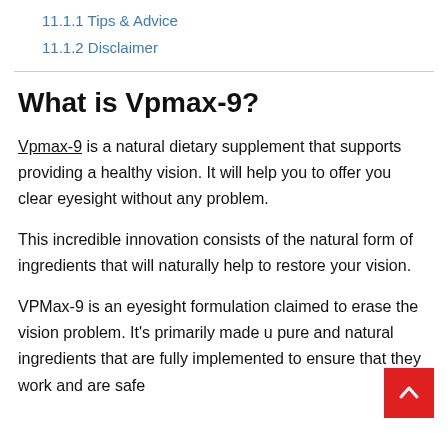11.1.1 Tips & Advice
11.1.2 Disclaimer
What is Vpmax-9?
Vpmax-9 is a natural dietary supplement that supports providing a healthy vision. It will help you to offer you clear eyesight without any problem.
This incredible innovation consists of the natural form of ingredients that will naturally help to restore your vision.
VPMax-9 is an eyesight formulation claimed to erase the vision problem. It's primarily made up of pure and natural ingredients that are fully implemented to ensure that they work and are safe